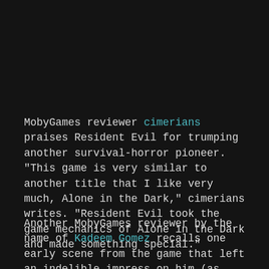MobyGames reviewer cimerians praises Resident Evil for trumping another survival-horror pioneer. "This game is very similar to another title that I like very much, Alone in the Dark," cimerians writes. "Resident Evil took the game mechanics of Alone in the Dark and made something special."
Another MobyGames reviewer by the name of Kadeem Gomez recalls one early scene from the game that left an indelible impress on him (as well as many other